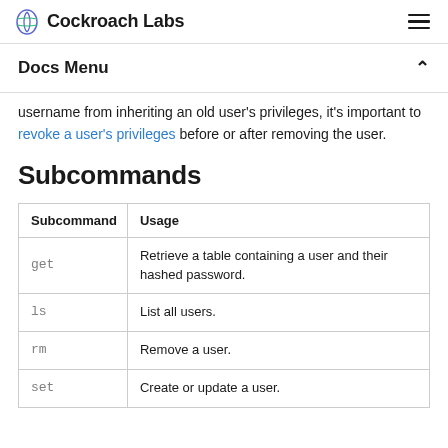Cockroach Labs
Docs Menu
username from inheriting an old user's privileges, it's important to revoke a user's privileges before or after removing the user.
Subcommands
| Subcommand | Usage |
| --- | --- |
| get | Retrieve a table containing a user and their hashed password. |
| ls | List all users. |
| rm | Remove a user. |
| set | Create or update a user. |